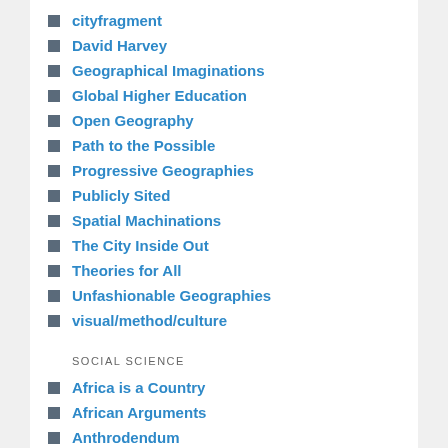cityfragment
David Harvey
Geographical Imaginations
Global Higher Education
Open Geography
Path to the Possible
Progressive Geographies
Publicly Sited
Spatial Machinations
The City Inside Out
Theories for All
Unfashionable Geographies
visual/method/culture
SOCIAL SCIENCE
Africa is a Country
African Arguments
Anthrodendum
Carceral Notebooks
Collective Behavior and Social Movements (ASA)
Contexts: ASA Blogsite